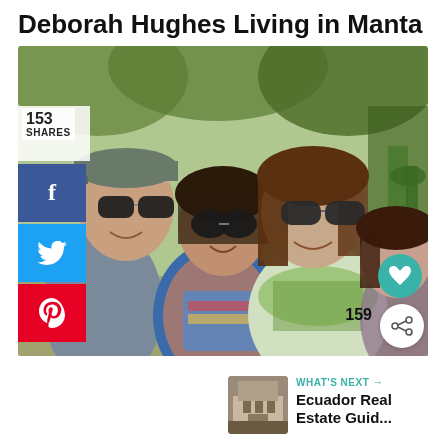Deborah Hughes Living in Manta
[Figure (photo): A group photo of four people smiling outdoors among green trees and cactus plants. From left: a man wearing a grey cap and dark sunglasses; a woman with dark hair and large black sunglasses wearing a colorful patterned scarf; a woman with long brown hair and large dark sunglasses with a green patterned scarf; a younger woman on the right. Social sharing sidebar visible on left with Facebook, Twitter, Pinterest buttons showing 153 shares. Heart and share icons visible in bottom-right of photo showing 159.]
WHAT'S NEXT → Ecuador Real Estate Guid...